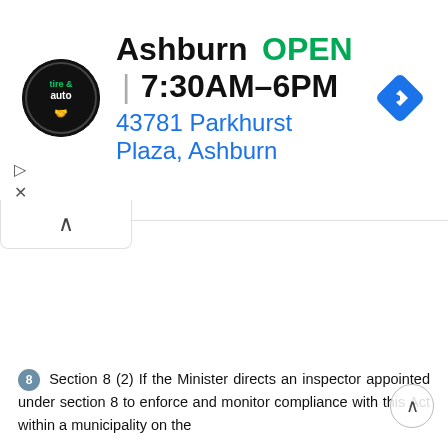[Figure (screenshot): Advertisement banner for Ashburn tire & auto shop showing logo, OPEN status, hours 7:30AM–6PM, address 43781 Parkhurst Plaza Ashburn, and navigation icon]
8 Section 8 (2) If the Minister directs an inspector appointed under section 8 to enforce and monitor compliance with this Act within a municipality on the